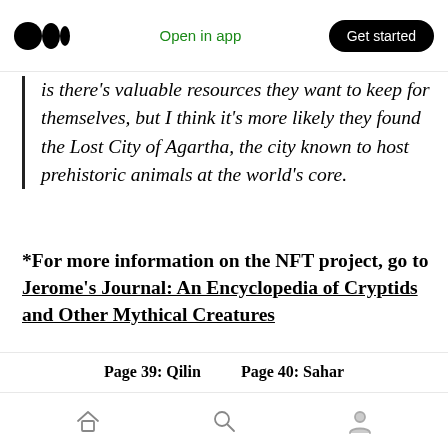Open in app | Get started
is there's valuable resources they want to keep for themselves, but I think it's more likely they found the Lost City of Agartha, the city known to host prehistoric animals at the world's core.
*For more information on the NFT project, go to Jerome's Journal: An Encyclopedia of Cryptids and Other Mythical Creatures
As more information comes into the world of The Cryptid Coalition, this page will be updated.
Page 39: Qilin   Page 40: Sahar